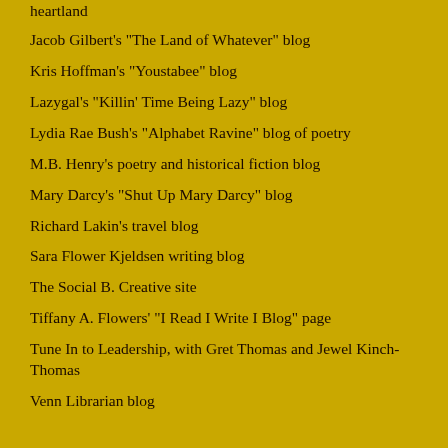heartland
Jacob Gilbert's "The Land of Whatever" blog
Kris Hoffman's "Youstabee" blog
Lazygal's "Killin' Time Being Lazy" blog
Lydia Rae Bush's "Alphabet Ravine" blog of poetry
M.B. Henry's poetry and historical fiction blog
Mary Darcy's "Shut Up Mary Darcy" blog
Richard Lakin's travel blog
Sara Flower Kjeldsen writing blog
The Social B. Creative site
Tiffany A. Flowers' "I Read I Write I Blog" page
Tune In to Leadership, with Gret Thomas and Jewel Kinch-Thomas
Venn Librarian blog